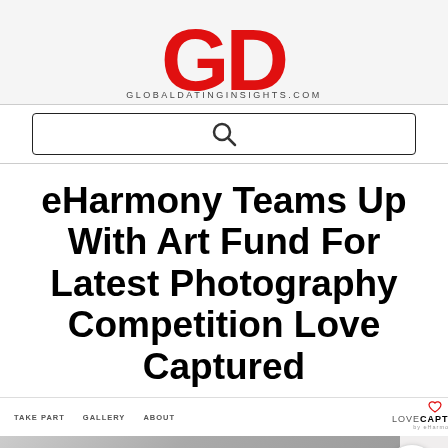[Figure (logo): GDI logo — red bold letters G, D, I with GLOBALDATINGINSIGHTS.COM tagline below]
[Figure (screenshot): Search bar with magnifying glass icon on white background]
eHarmony Teams Up With Art Fund For Latest Photography Competition Love Captured
[Figure (screenshot): Screenshot of the Love Captured website by eHarmony, showing navigation (TAKE PART, GALLERY, ABOUT), Love Captured logo, More from eHarmony button, hamburger menu button, and partial image of a photo gallery with text 'Share the Love. Captured.']